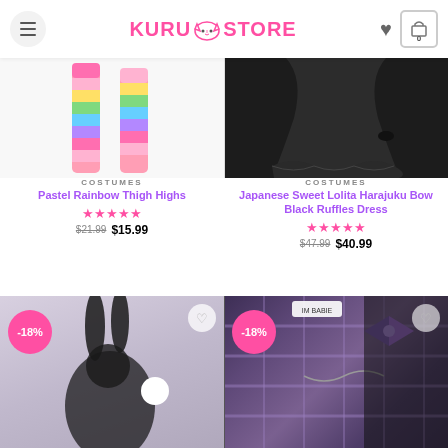Kuru Store — hamburger menu, wishlist, cart (0)
[Figure (photo): Pastel rainbow thigh-high socks on a model's legs against a white background]
COSTUMES
Pastel Rainbow Thigh Highs
★★★★★ $21.99  $15.99
[Figure (photo): Japanese Sweet Lolita black ruffled dress on a model against a dark background]
COSTUMES
Japanese Sweet Lolita Harajuku Bow Black Ruffles Dress
★★★★★ $47.99  $40.99
[Figure (photo): Black bunny lolita costume with wings and ears, -18% sale badge]
[Figure (photo): Purple plaid skirt with bow and chain accessories, 'IM BABIE' tag, -18% sale badge]